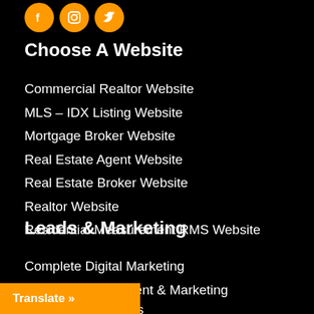[Figure (illustration): Three circular orange social media icons (Facebook f, Instagram camera, Twitter bird) arranged horizontally]
Choose A Website
Commercial Realtor Website
MLS – IDX Listing Website
Mortgage Broker Website
Real Estate Agent Website
Real Estate Broker Website
Realtor Website
Residential Measurement RMS Website
Leads & Marketing
Complete Digital Marketing
Content Development & Marketing
ng
le (PPC) & Analytics
[Figure (other): Orange 'Translate »' button overlay at bottom left]